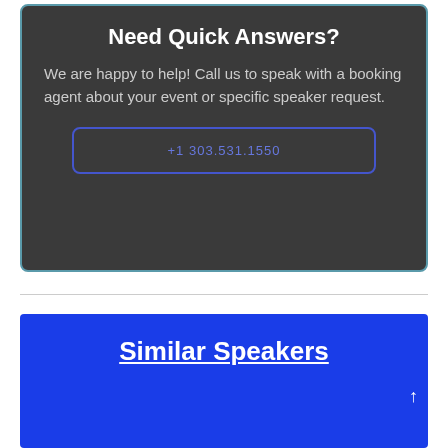Need Quick Answers?
We are happy to help! Call us to speak with a booking agent about your event or specific speaker request.
+1 303.531.1550
Similar Speakers
[Figure (photo): Photo of a speaker, cropped to show head/face area against dark background]